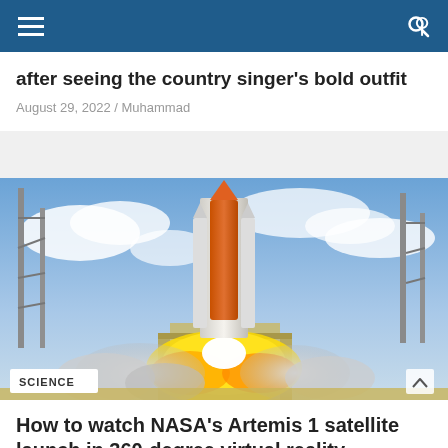Navigation bar with hamburger menu and search icon
after seeing the country singer's bold outfit
August 29, 2022 / Muhammad
[Figure (photo): NASA rocket launch with large flames and smoke clouds, two metal towers on either side, blue cloudy sky background. Science badge visible in lower left.]
How to watch NASA's Artemis 1 satellite launch in 360-degree virtual reality